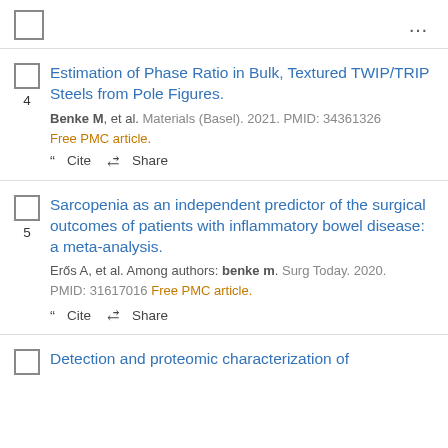... (menu)
4. Estimation of Phase Ratio in Bulk, Textured TWIP/TRIP Steels from Pole Figures. Benke M, et al. Materials (Basel). 2021. PMID: 34361326 Free PMC article.
5. Sarcopenia as an independent predictor of the surgical outcomes of patients with inflammatory bowel disease: a meta-analysis. Erős A, et al. Among authors: benke m. Surg Today. 2020. PMID: 31617016 Free PMC article.
6. Detection and proteomic characterization of...